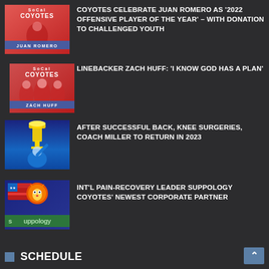[Figure (photo): Juan Romero SoCal Coyotes photo with team logo and name overlay]
COYOTES CELEBRATE JUAN ROMERO AS '2022 OFFENSIVE PLAYER OF THE YEAR' – WITH DONATION TO CHALLENGED YOUTH
[Figure (photo): Zach Huff SoCal Coyotes linebacker photo with teammates and name overlay]
LINEBACKER ZACH HUFF: 'I KNOW GOD HAS A PLAN'
[Figure (photo): Coach Miller raising trophy, blue background]
AFTER SUCCESSFUL BACK, KNEE SURGERIES, COACH MILLER TO RETURN IN 2023
[Figure (logo): Suppology corporate partner logo with coyote mascot and uppology branding]
INT'L PAIN-RECOVERY LEADER SUPPOLOGY COYOTES' NEWEST CORPORATE PARTNER
SCHEDULE